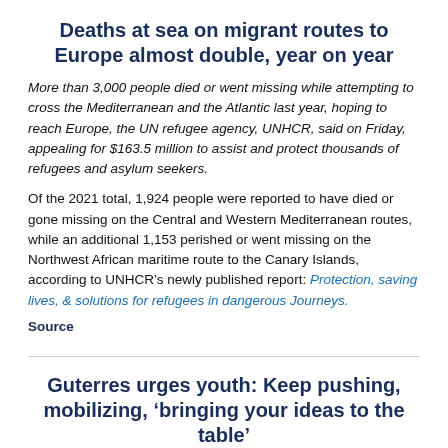Deaths at sea on migrant routes to Europe almost double, year on year
More than 3,000 people died or went missing while attempting to cross the Mediterranean and the Atlantic last year, hoping to reach Europe, the UN refugee agency, UNHCR, said on Friday, appealing for $163.5 million to assist and protect thousands of refugees and asylum seekers.
Of the 2021 total, 1,924 people were reported to have died or gone missing on the Central and Western Mediterranean routes, while an additional 1,153 perished or went missing on the Northwest African maritime route to the Canary Islands, according to UNHCR’s newly published report: Protection, saving lives, & solutions for refugees in dangerous Journeys.
Source
Guterres urges youth: Keep pushing, mobilizing, ‘bringing your ideas to the table’
Despite war, COVID-19 and the climate crisis, all of which compound